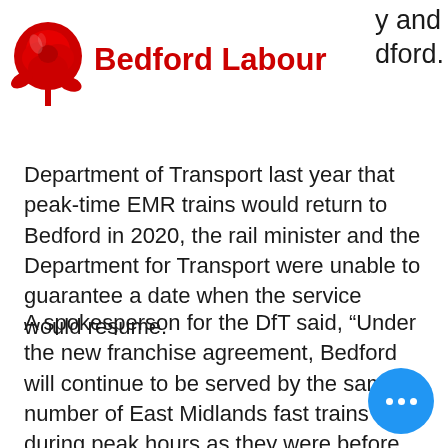Bedford Labour
Department of Transport last year that peak-time EMR trains would return to Bedford in 2020, the rail minister and the Department for Transport were unable to guarantee a date when the service would resume.
A spokesperson for the DfT said, “Under the new franchise agreement, Bedford will continue to be served by the same number of East Midlands fast trains during peak hours as they were before May with a dedicated service starting and